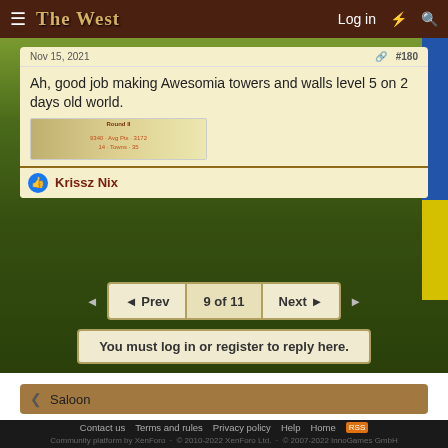The West — Log in
Nov 15, 2021   #180
Ah, good job making Awesomia towers and walls level 5 on 2 days old world.
[Figure (screenshot): Blurred screenshot of in-game stats (Round II, score 9340, Avg Pts 3172, 14 Towns: 35)]
Krissz Nix
◄ Prev   9 of 11   Next ►
You must log in or register to reply here.
Saloon
Contact us   Terms and rules   Privacy policy   Help   Home   RSS
Community platform by XenForo  ·  © 2010-2022 XenForo Ltd.  ·  © 2007-2022 InnoGames GmbH